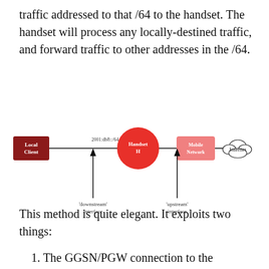traffic addressed to that /64 to the handset. The handset will process any locally-destined traffic, and forward traffic to other addresses in the /64.
[Figure (network-graph): Network diagram showing Local Client (dark red box) connected via line labeled '2001:db8::/64' to Handset H (red circle), which connects to Mobile Network (pink box) and Internet (cloud shape). Two arrows point upward to the line: one labeled 'downstream' interface and one labeled 'upstream' interface.]
This method is quite elegant. It exploits two things:
1. The GGSN/PGW connection to the